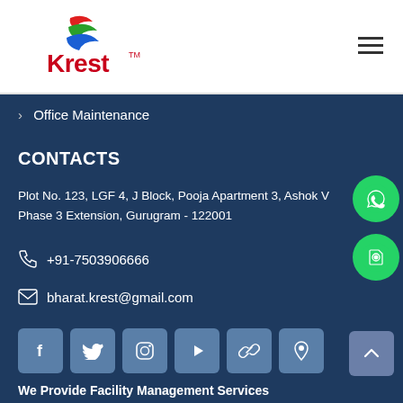[Figure (logo): Krest company logo with red text and colorful swoosh icon (red, green, blue)]
› Office Maintenance
CONTACTS
Plot No. 123, LGF 4, J Block, Pooja Apartment 3, Ashok V… Phase 3 Extension, Gurugram - 122001
+91-7503906666
bharat.krest@gmail.com
[Figure (infographic): Row of 6 social media icon buttons: Facebook, Twitter, Instagram, Play/YouTube, Link, Location pin]
We Provide Facility Management Services